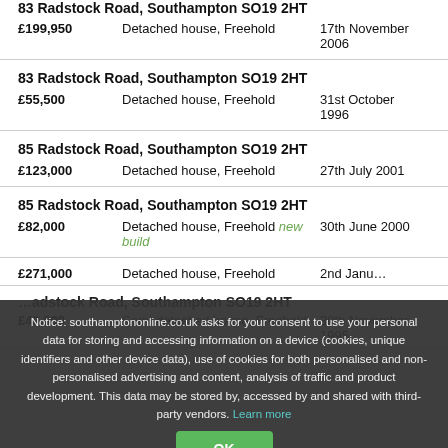83 Radstock Road, Southampton SO19 2HT | £199,950 | Detached house, Freehold | 17th November 2006
83 Radstock Road, Southampton SO19 2HT | £55,500 | Detached house, Freehold | 31st October 1996
85 Radstock Road, Southampton SO19 2HT | £123,000 | Detached house, Freehold | 27th July 2001
85 Radstock Road, Southampton SO19 2HT | £82,000 | Detached house, Freehold new build | 30th June 2000
£271,000 | Detached house, Freehold | 2nd January 2006 (partially obscured)
£48,000 | Semi-detached house, Freehold | 30th November 1995 (partially obscured)
Notice: southamptononline.co.uk asks for your consent to use your personal data for storing and accessing information on a device (cookies, unique identifiers and other device data), use of cookies for both personalised and non-personalised advertising and content, analysis of traffic and product development. This data may be stored by, accessed by and shared with third-party vendors. Learn more